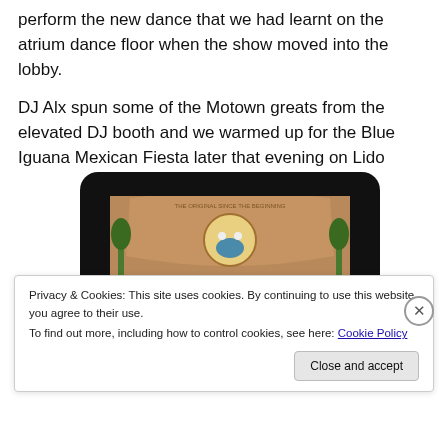perform the new dance that we had learnt on the atrium dance floor when the show moved into the lobby.
DJ Alx spun some of the Motown greats from the elevated DJ booth and we warmed up for the Blue Iguana Mexican Fiesta later that evening on Lido
[Figure (photo): A photo of a Blue Iguana's Mexican Fiesta sign displayed on a tablet/device screen with black bezel. The sign has a blue banner with white bold text reading 'BLUE IGUANA'S MEXICAN FIESTA' and a decorative arch top with an iguana logo.]
Privacy & Cookies: This site uses cookies. By continuing to use this website, you agree to their use.
To find out more, including how to control cookies, see here: Cookie Policy
Close and accept